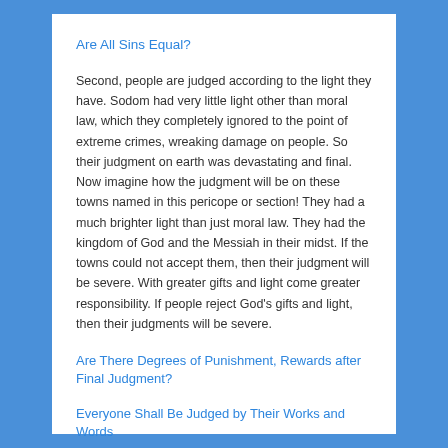Are All Sins Equal?
Second, people are judged according to the light they have. Sodom had very little light other than moral law, which they completely ignored to the point of extreme crimes, wreaking damage on people. So their judgment on earth was devastating and final. Now imagine how the judgment will be on these towns named in this pericope or section! They had a much brighter light than just moral law. They had the kingdom of God and the Messiah in their midst. If the towns could not accept them, then their judgment will be severe. With greater gifts and light come greater responsibility. If people reject God's gifts and light, then their judgments will be severe.
Are There Degrees of Punishment, Rewards after Final Judgment?
Everyone Shall Be Judged by Their Works and Words